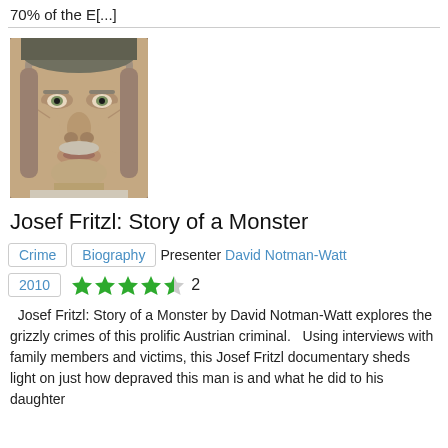70% of the E[...]
[Figure (photo): Close-up portrait photo of an older man with grey hair and a grey moustache]
Josef Fritzl: Story of a Monster
Crime | Biography  Presenter David Notman-Watt
2010  ★★★★½  2
Josef Fritzl: Story of a Monster by David Notman-Watt explores the grizzly crimes of this prolific Austrian criminal.   Using interviews with family members and victims, this Josef Fritzl documentary sheds light on just how depraved this man is and what he did to his daughter